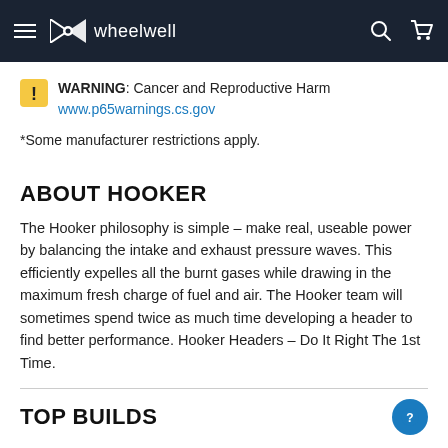wheelwell
WARNING: Cancer and Reproductive Harm www.p65warnings.cs.gov
*Some manufacturer restrictions apply.
ABOUT HOOKER
The Hooker philosophy is simple – make real, useable power by balancing the intake and exhaust pressure waves. This efficiently expelles all the burnt gases while drawing in the maximum fresh charge of fuel and air. The Hooker team will sometimes spend twice as much time developing a header to find better performance. Hooker Headers – Do It Right The 1st Time.
TOP BUILDS